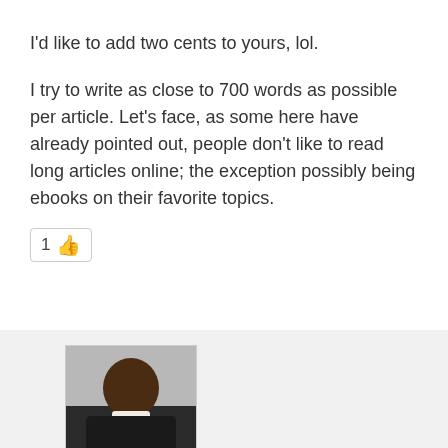I'd like to add two cents to yours, lol.
I try to write as close to 700 words as possible per article. Let's face, as some here have already pointed out, people don't like to read long articles online; the exception possibly being ebooks on their favorite topics.
[Figure (other): Like button with thumbs up emoji and count of 1]
[Figure (photo): Profile photo of a smiling man in a dark suit with white shirt]
optins
Posts: 1